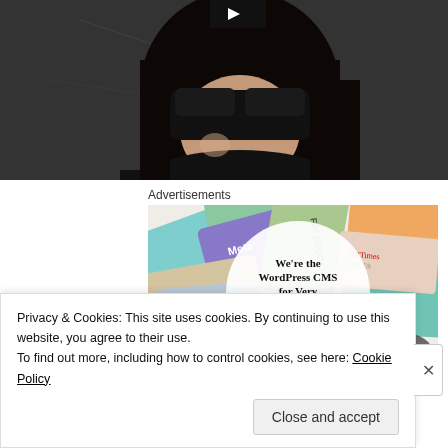[Figure (photo): Person wearing dark sunglasses/mask, dark hair, black jacket, partially visible face against a dark background. Play button visible at top.]
Advertisements
[Figure (illustration): WordPress VIP advertisement. Background shows various publication/media brand cards (Meta, FACEBOOK, etc.). Center white circle with text: We're the WordPress CMS for Very Important Content. WordPress VIP logo. Learn more button.]
Privacy & Cookies: This site uses cookies. By continuing to use this website, you agree to their use.
To find out more, including how to control cookies, see here: Cookie Policy
Close and accept